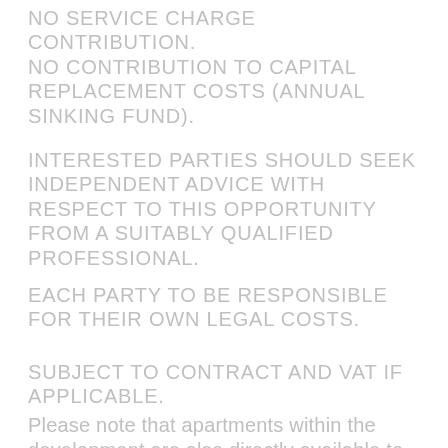NO SERVICE CHARGE CONTRIBUTION. NO CONTRIBUTION TO CAPITAL REPLACEMENT COSTS (ANNUAL SINKING FUND).
INTERESTED PARTIES SHOULD SEEK INDEPENDENT ADVICE WITH RESPECT TO THIS OPPORTUNITY FROM A SUITABLY QUALIFIED PROFESSIONAL.
EACH PARTY TO BE RESPONSIBLE FOR THEIR OWN LEGAL COSTS.
SUBJECT TO CONTRACT AND VAT IF APPLICABLE.
Please note that apartments within the development are also directly available to owner